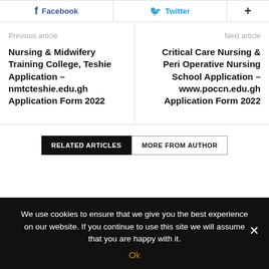[Figure (other): Social share buttons: Facebook, Twitter, and plus button]
Previous article
Nursing & Midwifery Training College, Teshie Application – nmtcteshie.edu.gh Application Form 2022
Next article
Critical Care Nursing & Peri Operative Nursing School Application – www.poccn.edu.gh Application Form 2022
RELATED ARTICLES | MORE FROM AUTHOR
We use cookies to ensure that we give you the best experience on our website. If you continue to use this site we will assume that you are happy with it.
Ok